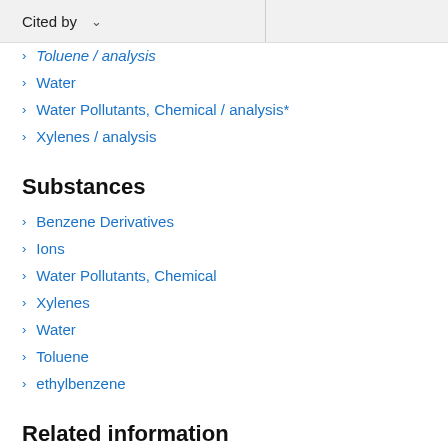Cited by
Toluene / analysis
Water
Water Pollutants, Chemical / analysis*
Xylenes / analysis
Substances
Benzene Derivatives
Ions
Water Pollutants, Chemical
Xylenes
Water
Toluene
ethylbenzene
Related information